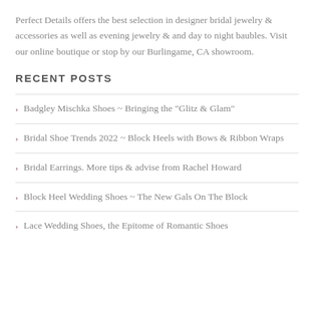Perfect Details offers the best selection in designer bridal jewelry & accessories as well as evening jewelry & and day to night baubles. Visit our online boutique or stop by our Burlingame, CA showroom.
RECENT POSTS
Badgley Mischka Shoes ~ Bringing the "Glitz & Glam"
Bridal Shoe Trends 2022 ~ Block Heels with Bows & Ribbon Wraps
Bridal Earrings. More tips & advise from Rachel Howard
Block Heel Wedding Shoes ~ The New Gals On The Block
Lace Wedding Shoes, the Epitome of Romantic Shoes